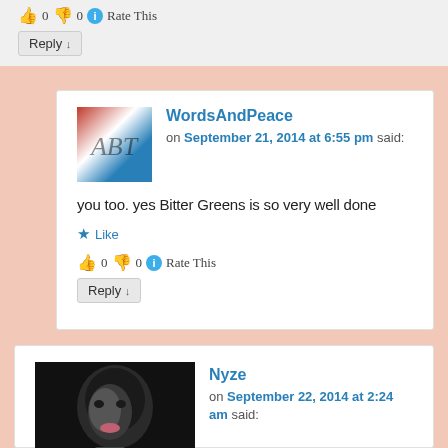👍 0 👎 0 ℹ Rate This
Reply ↓
WordsAndPeace on September 21, 2014 at 6:55 pm said:
you too. yes Bitter Greens is so very well done
★ Like
👍 0 👎 0 ℹ Rate This
Reply ↓
Nyze on September 22, 2014 at 2:24 am said: